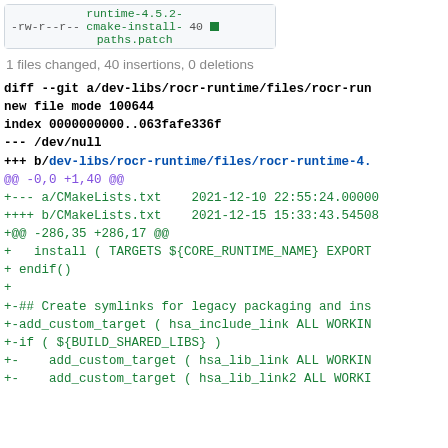| -rw-r--r-- | runtime-4.5.2-cmake-install-paths.patch | 40 |  |
| --- | --- | --- | --- |
1 files changed, 40 insertions, 0 deletions
diff --git a/dev-libs/rocr-runtime/files/rocr-run
new file mode 100644
index 0000000000..063fafe336f
--- /dev/null
+++ b/dev-libs/rocr-runtime/files/rocr-runtime-4.
@@ -0,0 +1,40 @@
+--- a/CMakeLists.txt    2021-12-10 22:55:24.00000
++++ b/CMakeLists.txt    2021-12-15 15:33:43.54508
+@@ -286,35 +286,17 @@
+   install ( TARGETS ${CORE_RUNTIME_NAME} EXPORT
+ endif()
+
+-## Create symlinks for legacy packaging and ins
+-add_custom_target ( hsa_include_link ALL WORKIN
+-if ( ${BUILD_SHARED_LIBS} )
+-    add_custom_target ( hsa_lib_link ALL WORKIN
+-    add_custom_target ( hsa_lib_link2 ALL WORKI